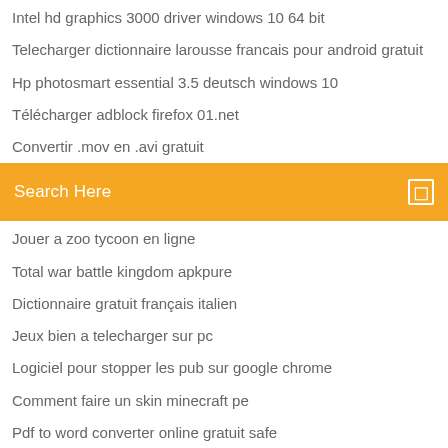Intel hd graphics 3000 driver windows 10 64 bit
Telecharger dictionnaire larousse francais pour android gratuit
Hp photosmart essential 3.5 deutsch windows 10
Télécharger adblock firefox 01.net
Convertir .mov en .avi gratuit
Search Here
Jouer a zoo tycoon en ligne
Total war battle kingdom apkpure
Dictionnaire gratuit français italien
Jeux bien a telecharger sur pc
Logiciel pour stopper les pub sur google chrome
Comment faire un skin minecraft pe
Pdf to word converter online gratuit safe
Modern combat 5 esports fps hack mod apk télécharger
Installer king of avalon sur pc
Jouer a pixel gun 3d sur pc
Comment avoir la nouvelle mise a jour messenger